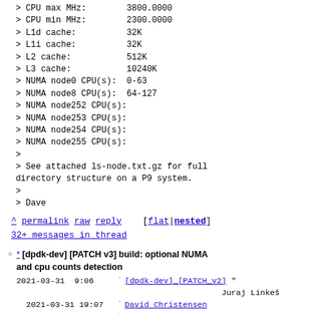> CPU max MHz:        3800.0000
> CPU min MHz:        2300.0000
> L1d cache:          32K
> L1i cache:          32K
> L2 cache:           512K
> L3 cache:           10240K
> NUMA node0 CPU(s):  0-63
> NUMA node8 CPU(s):  64-127
> NUMA node252 CPU(s):
> NUMA node253 CPU(s):
> NUMA node254 CPU(s):
> NUMA node255 CPU(s):
>
> See attached ls-node.txt.gz for full
directory structure on a P9 system.
>
> Dave
^ permalink raw reply  [flat|nested]
32+ messages in thread
* [dpdk-dev] [PATCH v3] build: optional NUMA and cpu counts detection
2021-03-31  9:06  [dpdk-dev] [PATCH v2] " Juraj Linkes
2021-03-31 19:07    David Christensen
@ 2021-04-19 10:18  ` Juraj Linkes
2021-04-28 19:33    David Christensen
2021-06-29 10:55    [dpdk-dev] [PATCH v4] " Juraj Linkes